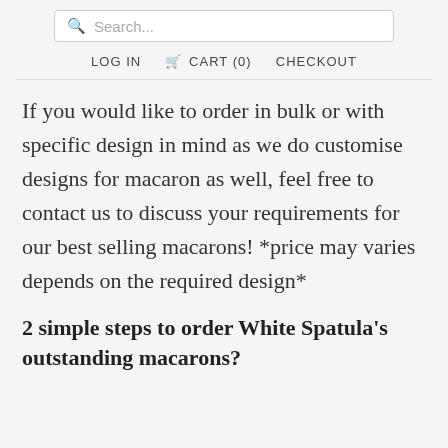Search...
LOG IN   CART (0)   CHECKOUT
If you would like to order in bulk or with specific design in mind as we do customise designs for macaron as well, feel free to contact us to discuss your requirements for our best selling macarons! *price may varies depends on the required design*
2 simple steps to order White Spatula's outstanding macarons?